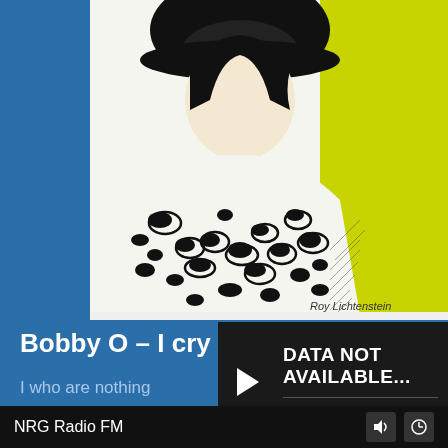[Figure (illustration): Roy Lichtenstein style pop art illustration showing a woman in a black and white leopard print outfit against a yellow-green background. Artist signature 'Roy Lichtenstein' visible in lower right.]
Bobby O – I cry for you
I who are nothing
I who are we
I who adore you
Your love is what I see
Yes, it's true what they say that I'm married today
With a c...
Yes, it's...
you
DATA NOT AVAILABLE...
Data Not Available...
NRG Radio FM